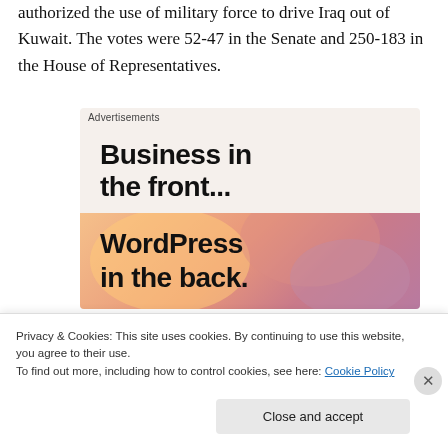authorized the use of military force to drive Iraq out of Kuwait. The votes were 52-47 in the Senate and 250-183 in the House of Representatives.
[Figure (infographic): Advertisement banner with two sections: top section with light beige background showing 'Business in the front...' in bold black text, and bottom section with gradient orange-pink background showing 'WordPress in the back.' in bold black text. Labeled 'Advertisements' at top.]
Privacy & Cookies: This site uses cookies. By continuing to use this website, you agree to their use.
To find out more, including how to control cookies, see here: Cookie Policy